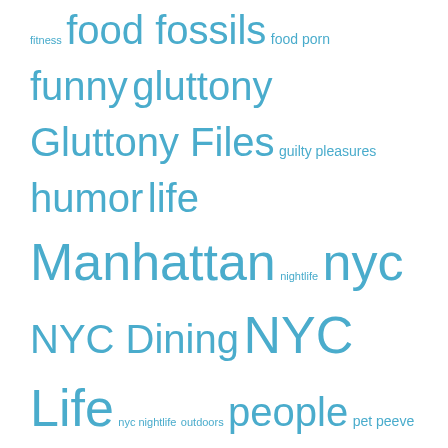fitness food fossils food porn funny gluttony Gluttony Files guilty pleasures humor life Manhattan nightlife nyc NYC Dining NYC Life nyc nightlife outdoors people pet peeve ranting raving restaurant restaurant review running sports UES wine WTF Yelp
Blogroll
a lil'hoohaa
Baking, Photography, and Sarcasm
Broke-Ass Socialite
Bronx Goblin
Cowbell. You Need More Of It.
Dumbass News
Flights & Frustration
Guys Gab
Holli's Hoots and Hollers